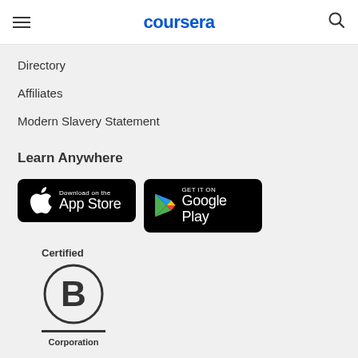coursera
Directory
Affiliates
Modern Slavery Statement
Learn Anywhere
[Figure (logo): Download on the App Store button (black rounded rectangle with Apple logo)]
[Figure (logo): GET IT ON Google Play button (black rounded rectangle with Google Play triangle logo)]
[Figure (logo): Certified B Corporation logo — circle with letter B, underline, and 'Corporation' text below]